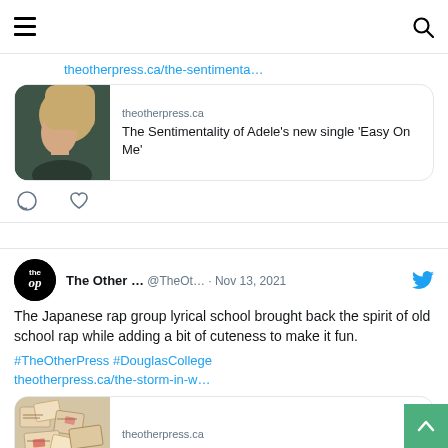Navigation bar with hamburger menu and search icon
theotherpress.ca/the-sentimenta…
[Figure (screenshot): Link preview card showing photo of Adele with text: theotherpress.ca / The Sentimentality of Adele's new single 'Easy On Me']
Comment and like action icons
The Other … @TheOt… · Nov 13, 2021
The Japanese rap group lyrical school brought back the spirit of old school rap while adding a bit of cuteness to make it fun.
#TheOtherPress #DouglasCollege theotherpress.ca/the-storm-in-w…
[Figure (screenshot): Link preview card showing illustrated map/collage image with text: theotherpress.ca / The Storm in 'Wonderland']